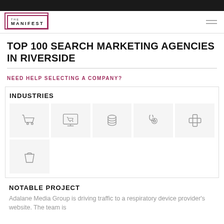[Figure (logo): The Manifest logo — square bracket logo with text THE MANIFEST and hamburger menu icon]
TOP 100 SEARCH MARKETING AGENCIES IN RIVERSIDE
NEED HELP SELECTING A COMPANY?
INDUSTRIES
[Figure (infographic): Six industry icons: shopping cart, e-commerce monitor with cart, stacked coins/database, stethoscope, medical cross, and shopping bag]
NOTABLE PROJECT
Adalane Media Group is driving traffic to a respiratory device provider's website. The team is